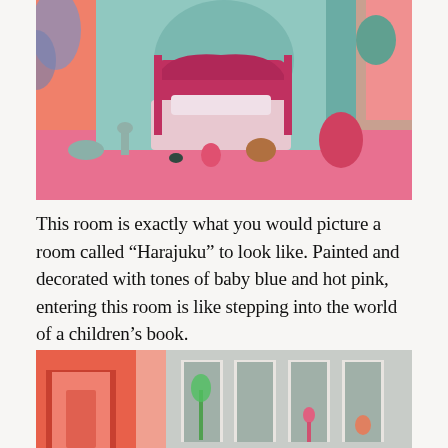[Figure (photo): A colorful room called 'Harajuku' decorated in baby blue and hot pink tones, featuring a pink ornate bed, various animal figurines (deer, monkey, elephant, birds), pink flooring, and tropical plants/statues]
This room is exactly what you would picture a room called “Harajuku” to look like. Painted and decorated with tones of baby blue and hot pink, entering this room is like stepping into the world of a children’s book.
With a dramatic entrance…
[Figure (photo): A dramatic entrance to the Harajuku room showing coral/orange arched doorways on the left and teal/grey arched alcoves on the right with plants inside]